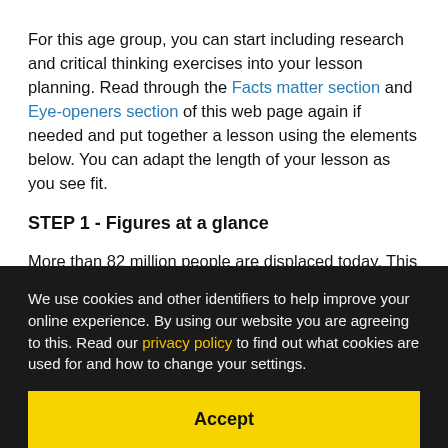For this age group, you can start including research and critical thinking exercises into your lesson planning. Read through the Facts matter section and Eye-openers section of this web page again if needed and put together a lesson using the elements below. You can adapt the length of your lesson as you see fit.
STEP 1 - Figures at a glance
More than 82 million people are displaced today. This is the highest number since the end of WWII. But who are the people behind these staggering statistics? Do some [text cut off]
We use cookies and other identifiers to help improve your online experience. By using our website you are agreeing to this. Read our privacy policy to find out what cookies are used for and how to change your settings.
Accept